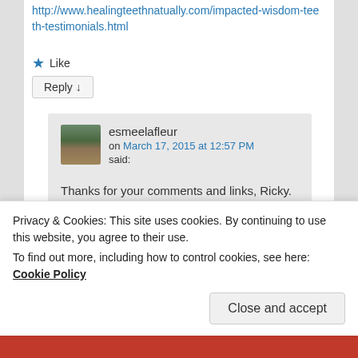http://www.healingteethnatually.com/impacted-wisdom-teeth-testimonials.html
★ Like
Reply ↓
esmeelafleur
on March 17, 2015 at 12:57 PM
said:
Thanks for your comments and links, Ricky. In my case, I believe is started with a GI infection I acquired in India at age 16.
Privacy & Cookies: This site uses cookies. By continuing to use this website, you agree to their use.
To find out more, including how to control cookies, see here: Cookie Policy
Close and accept